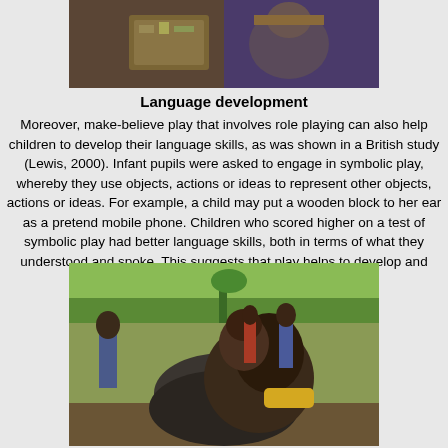[Figure (photo): Photo showing people, partially cropped at top of page — appears to show two individuals, one holding a cardboard box with bottles/items.]
Language development
Moreover, make-believe play that involves role playing can also help children to develop their language skills, as was shown in a British study (Lewis, 2000). Infant pupils were asked to engage in symbolic play, whereby they use objects, actions or ideas to represent other objects, actions or ideas. For example, a child may put a wooden block to her ear as a pretend mobile phone. Children who scored higher on a test of symbolic play had better language skills, both in terms of what they understood and spoke. This suggests that play helps to develop and solidify language skills.
[Figure (photo): Photo of a young African child playing with a tire outdoors, smiling at the camera. Other children and adults visible in the background in a grassy field.]